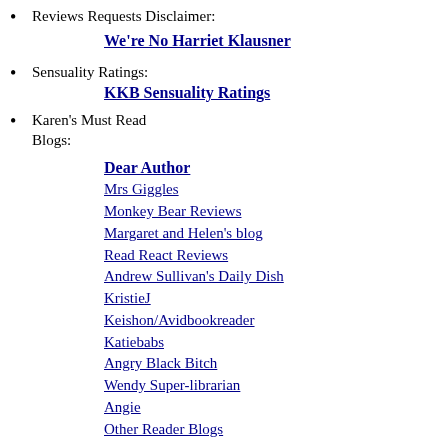Reviews Requests Disclaimer:
We're No Harriet Klausner
Sensuality Ratings:
KKB Sensuality Ratings
Karen's Must Read Blogs:
Dear Author
Mrs Giggles
Monkey Bear Reviews
Margaret and Helen's blog
Read React Reviews
Andrew Sullivan's Daily Dish
KristieJ
Keishon/Avidbookreader
Katiebabs
Angry Black Bitch
Wendy Super-librarian
Angie
Other Reader Blogs
Buy From Amazon:
Subscribe to Amazon Instant: